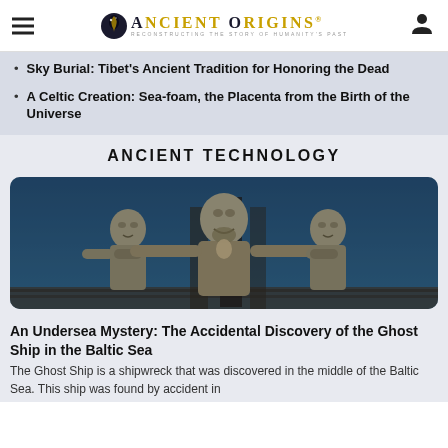Ancient Origins — Reconstructing the story of humanity's past
Sky Burial: Tibet's Ancient Tradition for Honoring the Dead
A Celtic Creation: Sea-foam, the Placenta from the Birth of the Universe
ANCIENT TECHNOLOGY
[Figure (photo): Underwater photograph of ancient stone statues or figurines showing three humanoid figures, the central one with outstretched arms, in murky blue-green water]
An Undersea Mystery: The Accidental Discovery of the Ghost Ship in the Baltic Sea
The Ghost Ship is a shipwreck that was discovered in the middle of the Baltic Sea. This ship was found by accident in